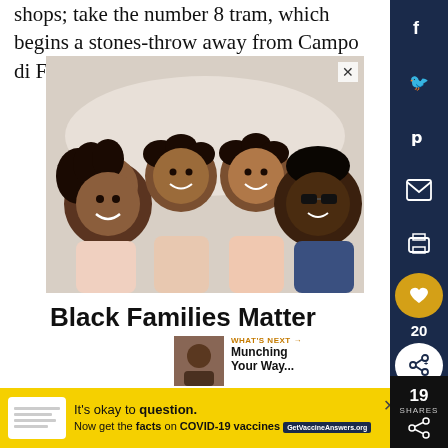shops; take the number 8 tram, which begins a stones-throw away from Campo di Fiori.
[Figure (photo): Overhead view of a smiling Black family of four lying on a bed looking up at the camera — mother, father, and two daughters with curly hair.]
Black Families Matter
[Figure (other): What's Next promo block showing a thumbnail and text: Munching Your Way...]
[Figure (other): Bottom advertisement bar: It's okay to question. Now get the facts on COVID-19 vaccines. GetVaccineAnswers.org]